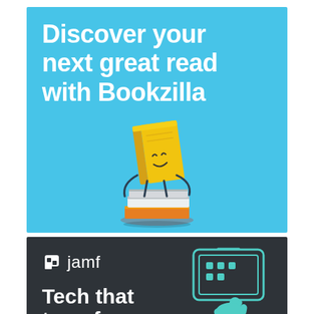[Figure (illustration): Bookzilla advertisement. Light blue background with bold white text 'Discover your next great read with Bookzilla' and a cartoon yellow book character with a smiley face standing on a stack of books.]
[Figure (illustration): Jamf advertisement. Dark charcoal background with Jamf logo (white speech bubble icon and 'jamf' text), a teal illustration of a hand pointing at a tablet device, and bold white text 'Tech that transforms'.]